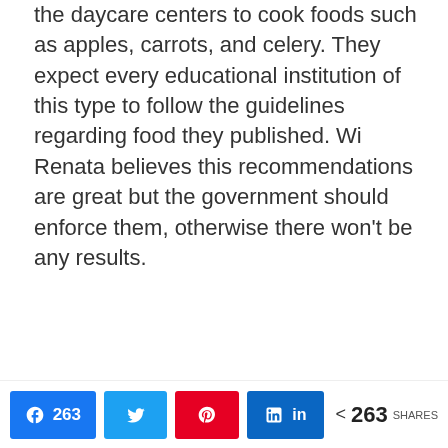the daycare centers to cook foods such as apples, carrots, and celery. They expect every educational institution of this type to follow the guidelines regarding food they published. Wi Renata believes this recommendations are great but the government should enforce them, otherwise there won't be any results.
Social share bar: Facebook 263, Twitter, Pinterest, LinkedIn, 263 SHARES